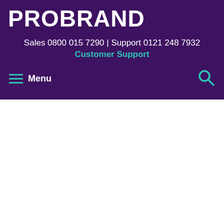[Figure (logo): PROBRAND logo in white bold text on dark purple background]
Sales 0800 015 7290 | Support 0121 248 7932
Customer Support
Menu